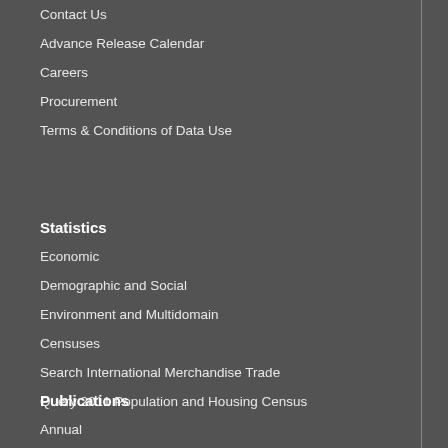Contact Us
Advance Release Calendar
Careers
Procurement
Terms & Conditions of Data Use
Statistics
Economic
Demographic and Social
Environment and Multidomain
Censuses
Search International Merchandise Trade
Query 2011 Population and Housing Census
Publications
Annual